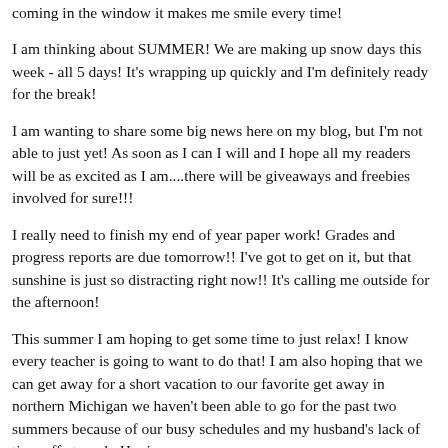coming in the window it makes me smile every time!
I am thinking about SUMMER! We are making up snow days this week - all 5 days! It's wrapping up quickly and I'm definitely ready for the break!
I am wanting to share some big news here on my blog, but I'm not able to just yet! As soon as I can I will and I hope all my readers will be as excited as I am....there will be giveaways and freebies involved for sure!!!
I really need to finish my end of year paper work! Grades and progress reports are due tomorrow!! I've got to get on it, but that sunshine is just so distracting right now!! It's calling me outside for the afternoon!
This summer I am hoping to get some time to just relax! I know every teacher is going to want to do that! I am also hoping that we can get away for a short vacation to our favorite get away in northern Michigan we haven't been able to go for the past two summers because of our busy schedules and my husband's lack of time off at work. Hoping